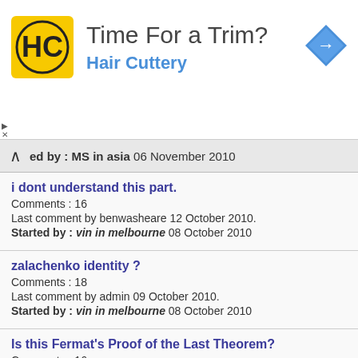[Figure (logo): Hair Cuttery advertisement banner with HC logo, title 'Time For a Trim?' and blue subtitle 'Hair Cuttery', with a blue diamond direction arrow icon on the right]
ed by : MS in asia 06 November 2010
i dont understand this part.
Comments : 16
Last comment by benwasheare 12 October 2010.
Started by : vin in melbourne 08 October 2010
zalachenko identity ?
Comments : 18
Last comment by admin 09 October 2010.
Started by : vin in melbourne 08 October 2010
Is this Fermat's Proof of the Last Theorem?
Comments : 16
Last comment by CMM in MI 08 October 2010.
Started by : 01 January 1970
Survive a bullet in the head?
Comments : 23
Last comment by tahuellanarbotmail.com in Brac 01 October...